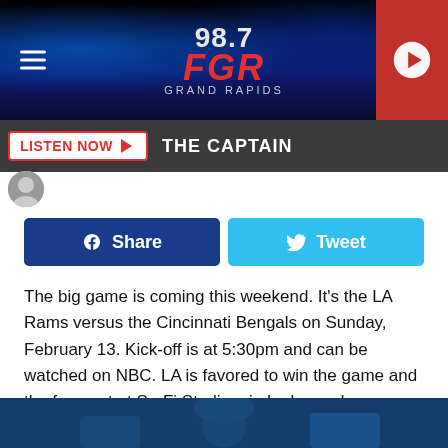[Figure (screenshot): 98.7 FGR Grand Rapids radio station banner with blue stage lighting, hamburger menu icon on left, play button on right]
LISTEN NOW ▶  THE CAPTAIN
[Figure (infographic): Facebook Share button (dark blue) and Twitter Tweet button (light blue)]
The big game is coming this weekend. It's the LA Rams versus the Cincinnati Bengals on Sunday, February 13. Kick-off is at 5:30pm and can be watched on NBC. LA is favored to win the game and the forecast at So-Fi Stadium in Inglewood, California calls for sunny skies and 72 degrees. This will be Super Bowl 55. What else do you want to know?
[Figure (photo): Bottom portion of a photo showing people at a sports event with teal/blue background]